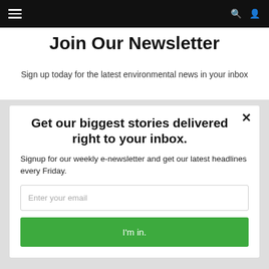Navigation bar with hamburger menu, search, and user icons
Join Our Newsletter
Sign up today for the latest environmental news in your inbox
Get our biggest stories delivered right to your inbox.
Signup for our weekly e-newsletter and get our latest headlines every Friday.
Enter your email
I'm in.